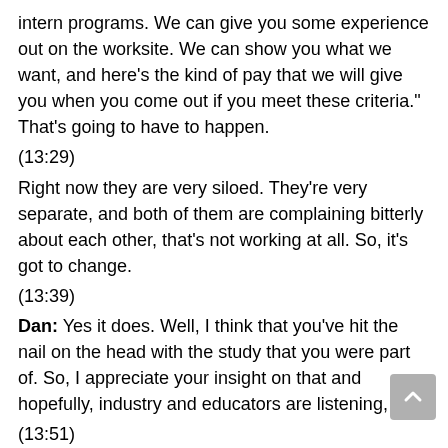intern programs. We can give you some experience out on the worksite. We can show you what we want, and here’s the kind of pay that we will give you when you come out if you meet these criteria.” That’s going to have to happen.
(13:29)
Right now they are very siloed. They’re very separate, and both of them are complaining bitterly about each other, that’s not working at all. So, it’s got to change.
(13:39)
Dan: Yes it does. Well, I think that you’ve hit the nail on the head with the study that you were part of. So, I appreciate your insight on that and hopefully, industry and educators are listening, so…
(13:51)
Elaine: (laughs)
(13:53)